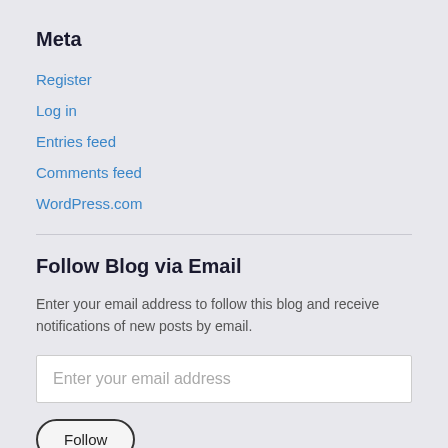Meta
Register
Log in
Entries feed
Comments feed
WordPress.com
Follow Blog via Email
Enter your email address to follow this blog and receive notifications of new posts by email.
Enter your email address
Follow